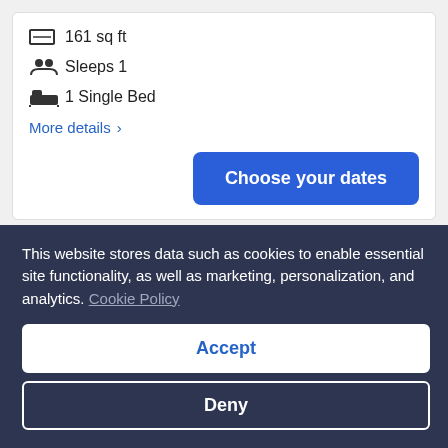161 sq ft
Sleeps 1
1 Single Bed
More details ›
Choose your dates
[Figure (other): Broken image placeholder in a hotel room listing card]
This website stores data such as cookies to enable essential site functionality, as well as marketing, personalization, and analytics. Cookie Policy
Accept
Deny